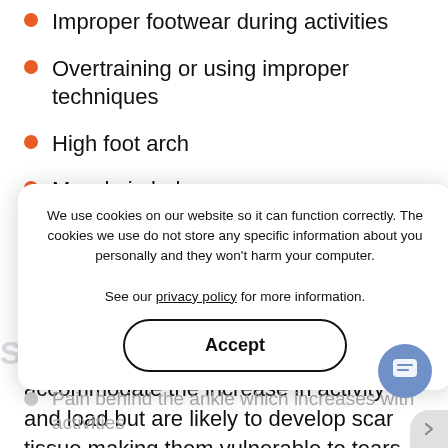Improper footwear during activities
Overtraining or using improper techniques
High foot arch
Muscle imbalance
Poor strength of the lower limb
Poor rehabilitation following an ankle sprain
The tendons gradually thicken to accommodate the increase in activity and load but are likely to develop scar tissue making them vulnerable to tears.
Symptoms of Peroneal Tendonitis
Peroneal tendonitis is associated with:
Pain behind the ankle which increases with activities
Pain on rolling the foot inward or outward